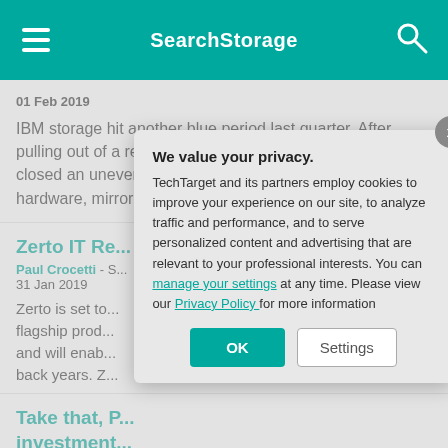SearchStorage
01 Feb 2019
IBM storage hit another blue period last quarter. After pulling out of a revenue slump to start 2018, IBM last week closed an uneven year with declining sales of storage hardware, mirroring flat ...
Zerto IT Re... Elastic Jou...
Paul Crocetti - S... 31 Jan 2019
Zerto is set to... flagship prod... and will enab... back years. Z...
Take that, P... investment...
We value your privacy.
TechTarget and its partners employ cookies to improve your experience on our site, to analyze traffic and performance, and to serve personalized content and advertising that are relevant to your professional interests. You can manage your settings at any time. Please view our Privacy Policy for more information